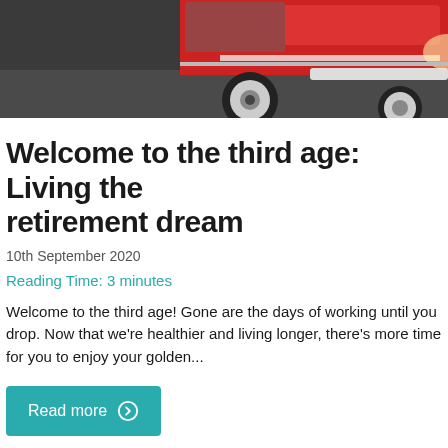[Figure (photo): Partial view of the front of a red classic truck/car, showing headlights and chrome bumper on a dark road surface]
Welcome to the third age: Living the retirement dream
10th September 2020
Reading Time: 3 minutes
Welcome to the third age! Gone are the days of working until you drop. Now that we're healthier and living longer, there's more time for you to enjoy your golden...
Read more
[Figure (photo): Blurred background image of a wooden deck or boardwalk over water, teal/dark tones]